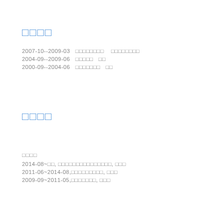□□□□
2007-10--2009-03  □□□□□□□□  □□□□□□□□
2004-09--2009-06  □□□□□  □□
2000-09--2004-06  □□□□□□□  □□
□□□□
□□□□
2014-08~□□, □□□□□□□□□□□□□□□, □□□
2011-06~2014-08,□□□□□□□□□, □□□
2009-09~2011-05,□□□□□□□, □□□